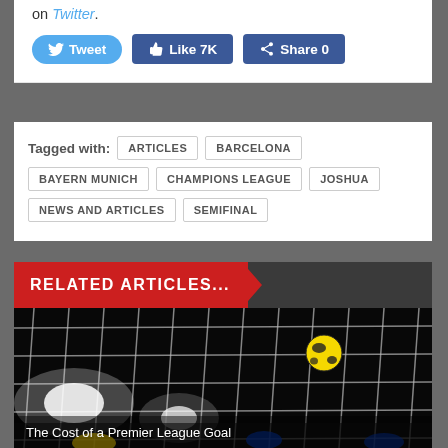on Twitter.
[Figure (other): Social share buttons: Tweet, Like 7K, Share 0]
Tagged with: ARTICLES  BARCELONA  BAYERN MUNICH  CHAMPIONS LEAGUE  JOSHUA  NEWS AND ARTICLES  SEMIFINAL
RELATED ARTICLES...
[Figure (photo): Football going into the back of the net, night match with stadium lights. Caption: The Cost of a Premier League Goal]